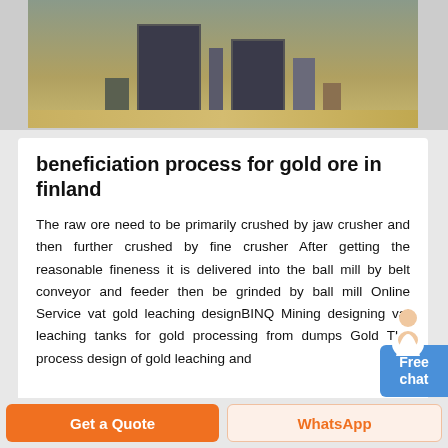[Figure (photo): Photo of industrial mining or processing equipment — large dark metal structures/tanks outdoors on sandy ground with ladders and scaffolding visible]
beneficiation process for gold ore in finland
The raw ore need to be primarily crushed by jaw crusher and then further crushed by fine crusher After getting the reasonable fineness it is delivered into the ball mill by belt conveyor and feeder then be grinded by ball mill Online Service vat gold leaching designBINQ Mining designing vat leaching tanks for gold processing from dumps Gold The process design of gold leaching and